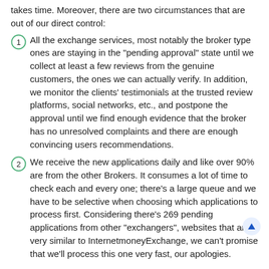takes time. Moreover, there are two circumstances that are out of our direct control:
All the exchange services, most notably the broker type ones are staying in the "pending approval" state until we collect at least a few reviews from the genuine customers, the ones we can actually verify. In addition, we monitor the clients' testimonials at the trusted review platforms, social networks, etc., and postpone the approval until we find enough evidence that the broker has no unresolved complaints and there are enough convincing users recommendations.
We receive the new applications daily and like over 90% are from the other Brokers. It consumes a lot of time to check each and every one; there's a large queue and we have to be selective when choosing which applications to process first. Considering there's 269 pending applications from other "exchangers", websites that are very similar to InternetmoneyExchange, we can't promise that we'll process this one very fast, our apologies.
Exceptions from these two rules may happen only in very rare extraordinary cases. As you can see, we move forward with listing new exchanges slowly and the queue for Brokers is the largest one, but as a consequence, only the best brokers are getting approved. Although we can't endorse InternetmoneyExchange and hadn't rated it (in full) yet, we believe that it could likely receive approval after some time